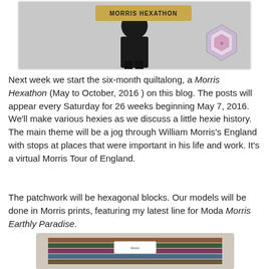[Figure (photo): Person holding a Morris Hexathon sign, with a hexagonal quilt block design visible on the right side]
Next week we start the six-month quiltalong, a Morris Hexathon (May to October, 2016 ) on this blog. The posts will appear every Saturday for 26 weeks beginning May 7, 2016.
We'll make various hexies as we discuss a little hexie history. The main theme will be a jog through William Morris's England with stops at places that were important in his life and work. It's a virtual Morris Tour of England.
The patchwork will be hexagonal blocks. Our models will be done in Morris prints, featuring my latest line for Moda Morris Earthly Paradise.
[Figure (photo): Stack of fabric rolls with Morris print patterns, Morris Earthly Paradise fabric line for Moda]